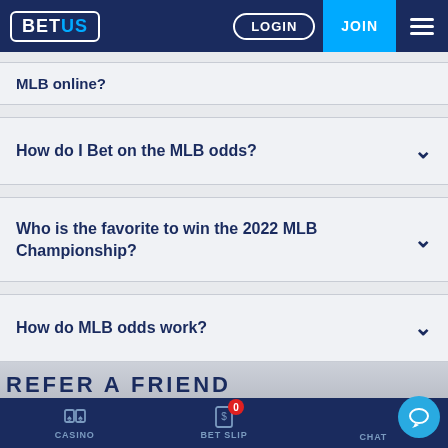BETUS | LOGIN | JOIN
MLB online?
How do I Bet on the MLB odds?
Who is the favorite to win the 2022 MLB Championship?
How do MLB odds work?
REFER A FRIEND
CASINO | BET SLIP | CHAT